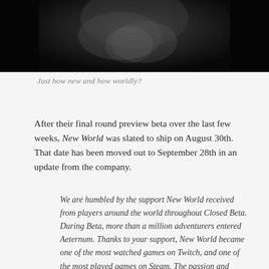[Figure (photo): Black and white close-up photograph of a face, partially visible at the top of the page, dark and moody lighting]
Just how new and how worldly?
After their final round preview beta over the last few weeks, New World was slated to ship on August 30th. That date has been moved out to September 28th in an update from the company.
We are humbled by the support New World received from players around the world throughout Closed Beta. During Beta, more than a million adventurers entered Aeternum. Thanks to your support, New World became one of the most watched games on Twitch, and one of the most played games on Steam. The passion and enthusiasm you've shown for New World validates the